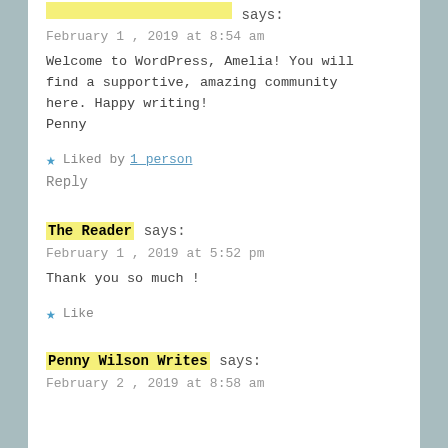[truncated author] says:
February 1, 2019 at 8:54 am
Welcome to WordPress, Amelia! You will find a supportive, amazing community here. Happy writing!
Penny
★ Liked by 1 person
Reply
The Reader says:
February 1, 2019 at 5:52 pm
Thank you so much !
★ Like
Penny Wilson Writes says:
February 2, 2019 at 8:58 am